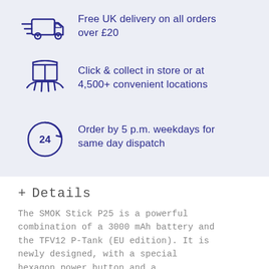[Figure (illustration): Delivery truck icon with speed lines]
Free UK delivery on all orders over £20
[Figure (illustration): Hand holding a package/box icon]
Click & collect in store or at 4,500+ convenient locations
[Figure (illustration): 24-hour clock with arrow icon]
Order by 5 p.m. weekdays for same day dispatch
+ Details
The SMOK Stick P25 is a powerful combination of a 3000 mAh battery and the TFV12 P-Tank (EU edition). It is newly designed, with a special hexagon power button and a carefully carved battery base. The Stick Prince's large battery capacity is the best